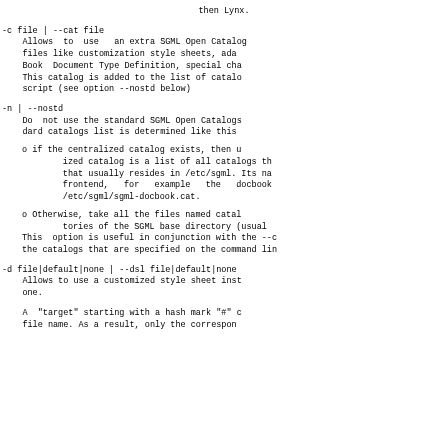then Lynx.
-c file | --cat file
    Allows  to  use   an extra SGML Open Catalog
    files like customization style sheets, ada
    Book  Document Type Definition, special ch
    This catalog is added to the list of catal
    script (see option --nostd below)
-n | --nostd
    Do  not use the standard SGML Open Catalogs
    dard catalogs list is determined like this
o if the centralized catalog exists, then u
      ized catalog is a list of all catalogs th
      that usually resides in /etc/sgml. Its na
      frontend,   for   example   the   docbook
      /etc/sgml/sgml-docbook.cat.
o Otherwise, take all the files named catal
      tories of the SGML base directory (usual
  This  option is useful in conjunction with the --c
  the catalogs that are specified on the command lin
-d file|default|none | --dsl file|default|none
    Allows to use a customized style sheet inst
    one.
A  "target" starting with a hash mark "#" c
    file name. As a result, only the correspon